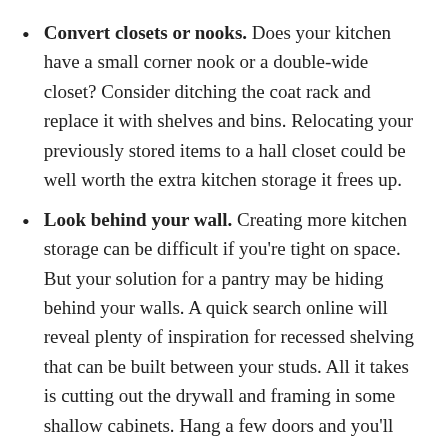Convert closets or nooks. Does your kitchen have a small corner nook or a double-wide closet? Consider ditching the coat rack and replace it with shelves and bins. Relocating your previously stored items to a hall closet could be well worth the extra kitchen storage it frees up.
Look behind your wall. Creating more kitchen storage can be difficult if you're tight on space. But your solution for a pantry may be hiding behind your walls. A quick search online will reveal plenty of inspiration for recessed shelving that can be built between your studs. All it takes is cutting out the drywall and framing in some shallow cabinets. Hang a few doors and you'll have a place to store cans, spices, and